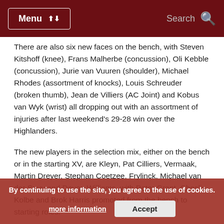Menu | Search
There are also six new faces on the bench, with Steven Kitshoff (knee), Frans Malherbe (concussion), Oli Kebble (concussion), Jurie van Vuuren (shoulder), Michael Rhodes (assortment of knocks), Louis Schreuder (broken thumb), Jean de Villiers (AC Joint) and Kobus van Wyk (wrist) all dropping out with an assortment of injuries after last weekend's 29-28 win over the Highlanders.
The new players in the selection mix, either on the bench or in the starting XV, are Kleyn, Pat Cilliers, Vermaak, Martin Dreyer, Stephan Coetzee, Frylinck, Michael van der Spuy and Devon Williams, with Peter Grant, Cheslin Kolbe and Brok Harris promoted from the bench to starting roles.
Debutant Kleyn will replace his WP Under-21 lock partner from last year, Ruan Botha, and replacing No.9 Dylon Frylinck was the first-choice scrumhalf for Western Province during the Vodacom Cup, having been promoted from the amateur ranks.
By continuing to use the site, you agree to the use of cookies. more information | Accept